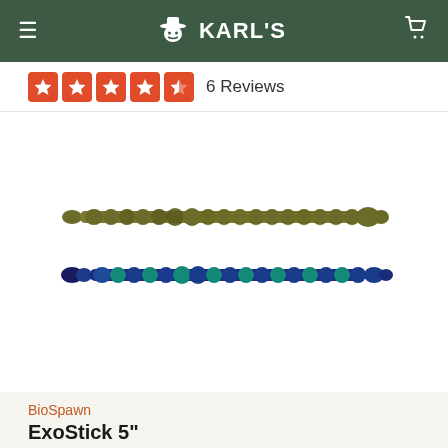KARL'S
6 Reviews
[Figure (photo): Two fishing lure worms (ExoStick 5") in two colors: olive/green on top and blue/teal glitter on bottom, both shown horizontally against a white background.]
BioSpawn
ExoStick 5"